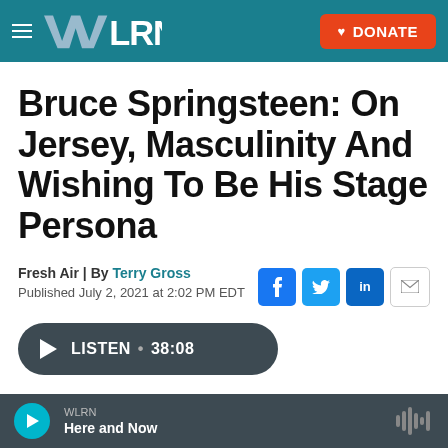WLRN | DONATE
Bruce Springsteen: On Jersey, Masculinity And Wishing To Be His Stage Persona
Fresh Air | By Terry Gross
Published July 2, 2021 at 2:02 PM EDT
[Figure (screenshot): Social sharing buttons: Facebook (f), Twitter (bird), LinkedIn (in), Email (envelope)]
[Figure (screenshot): Audio player bar showing LISTEN • 38:08]
WLRN | Here and Now